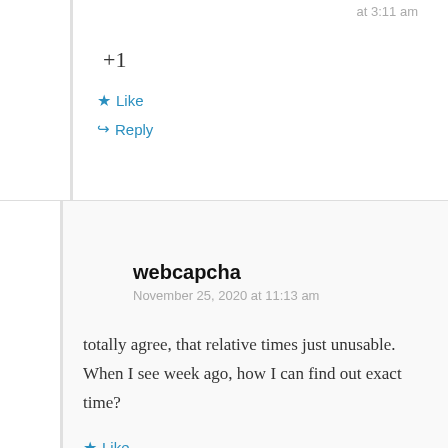at 3:11 am
+1
★ Like
↪ Reply
webcapcha
November 25, 2020 at 11:13 am
totally agree, that relative times just unusable. When I see week ago, how I can find out exact time?
★ Like